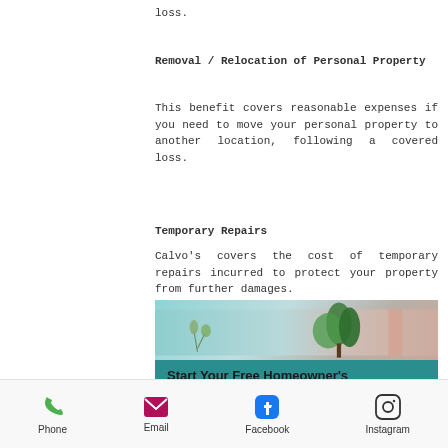loss.
Removal / Relocation of Personal Property
This benefit covers reasonable expenses if you need to move your personal property to another location, following a covered loss.
Temporary Repairs
Calvo's covers the cost of temporary repairs incurred to protect your property from further damages.
[Figure (photo): Interior home scene with plants and teal/pink background, overlaid with teal banner reading Start Your Free Homeowner's Quote Today!]
Phone  Email  Facebook  Instagram